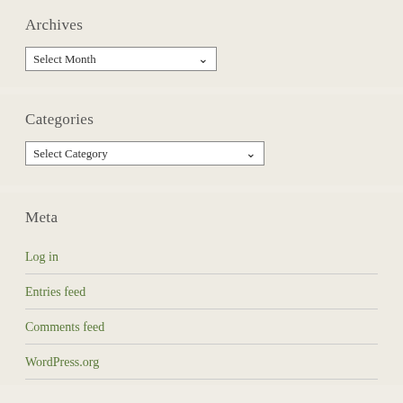Archives
Select Month
Categories
Select Category
Meta
Log in
Entries feed
Comments feed
WordPress.org
Proudly powered by WordPress | Theme: Misty Lake by WordPress.com.